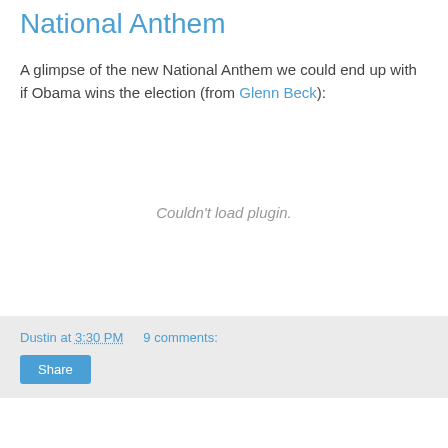National Anthem
A glimpse of the new National Anthem we could end up with if Obama wins the election (from Glenn Beck):
[Figure (other): Embedded plugin area showing 'Couldn't load plugin.' error message]
Dustin at 3:30 PM   9 comments:   Share